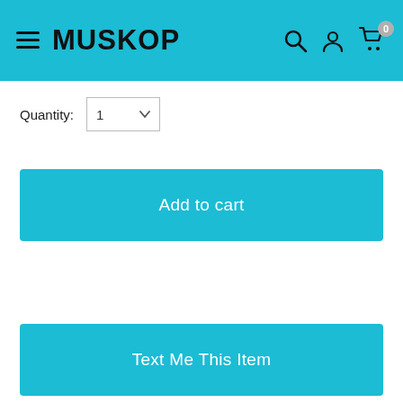MUSKOP
Quantity: 1
Add to cart
Text Me This Item
Share this product
Description